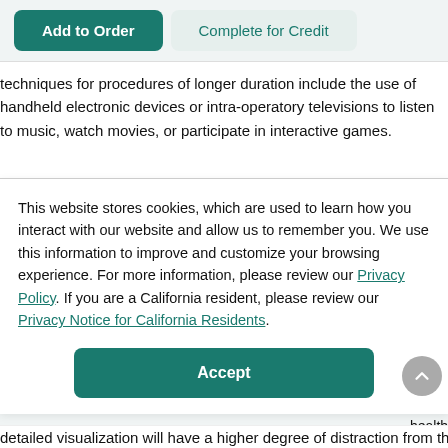Add to Order | Complete for Credit
techniques for procedures of longer duration include the use of handheld electronic devices or intra-operatory televisions to listen to music, watch movies, or participate in interactive games.
This website stores cookies, which are used to learn how you interact with our website and allow us to remember you. We use this information to improve and customize your browsing experience. For more information, please review our Privacy Policy. If you are a California resident, please review our Privacy Notice for California Residents.
Accept
detailed visualization will have a higher degree of distraction from their dental